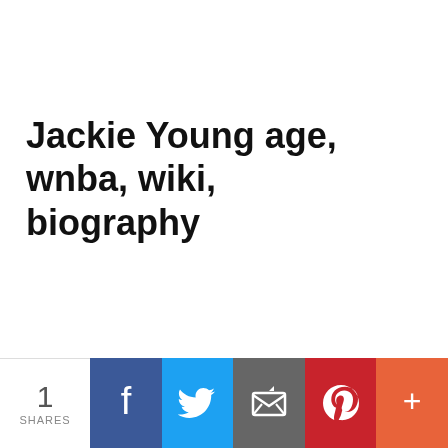Jackie Young age, wnba, wiki, biography
[Figure (infographic): Social share bar with share count (1 SHARES) and buttons for Facebook, Twitter, Email, Pinterest, and More (+)]